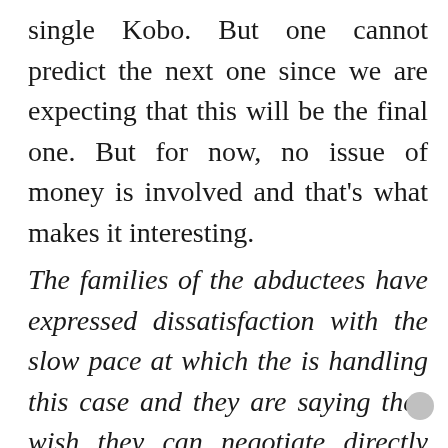single Kobo. But one cannot predict the next one since we are expecting that this will be the final one. But for now, no issue of money is involved and that's what makes it interesting.
The families of the abductees have expressed dissatisfaction with the slow pace at which the is handling this case and they are saying they wish they can negotiate directly with abductors. Is there a possibility of